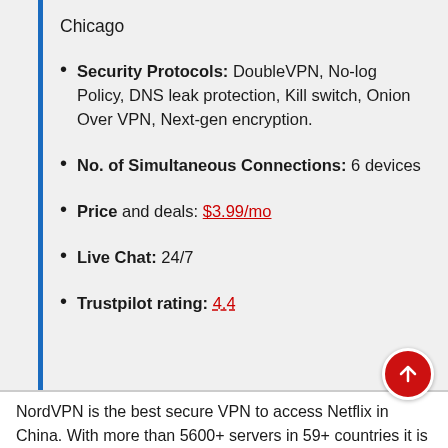Chicago
Security Protocols: DoubleVPN, No-log Policy, DNS leak protection, Kill switch, Onion Over VPN, Next-gen encryption.
No. of Simultaneous Connections: 6 devices
Price and deals: $3.99/mo
Live Chat: 24/7
Trustpilot rating: 4.4
NordVPN is the best secure VPN to access Netflix in China. With more than 5600+ servers in 59+ countries it is known